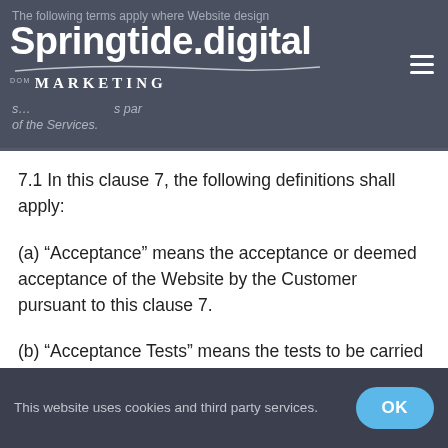Springtide.digital DOM MARKETING — The following terms apply where Website design… of the Services.
7.1 In this clause 7, the following definitions shall apply:
(a) “Acceptance” means the acceptance or deemed acceptance of the Website by the Customer pursuant to this clause 7.
(b) “Acceptance Tests” means the tests to be carried out on the Website as set out in this
This website uses cookies and third party services. OK